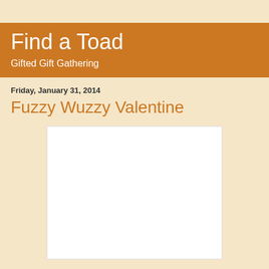Find a Toad
Gifted Gift Gathering
Friday, January 31, 2014
Fuzzy Wuzzy Valentine
[Figure (other): White rectangular image placeholder area with light grey border]